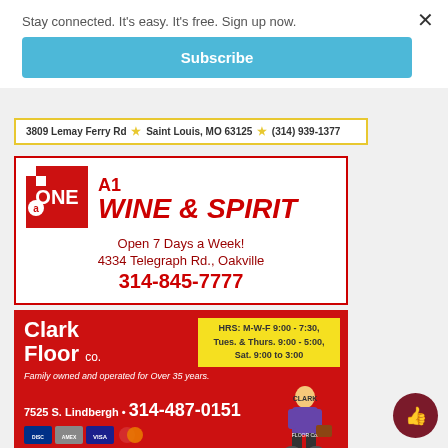Stay connected. It's easy. It's free. Sign up now.
Subscribe
3809 Lemay Ferry Rd ★ Saint Louis, MO 63125 ★ (314) 939-1377
[Figure (logo): A1 Wine & Spirit advertisement with ONE logo, address 4334 Telegraph Rd., Oakville, phone 314-845-7777, Open 7 Days a Week!]
[Figure (logo): Clark Floor Co. advertisement with hours M-W-F 9:00-7:30, Tues. & Thurs. 9:00-5:00, Sat. 9:00 to 3:00, address 7525 S. Lindbergh, phone 314-487-0151, family owned and operated for Over 35 years.]